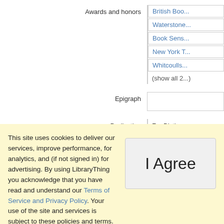| Field | Value |
| --- | --- |
| Awards and honors | British Boo... |
|  | Waterstone... |
|  | Book Sens... |
|  | New York T... |
|  | Whitcoulls... |
|  | (show all 2...) |
| Epigraph |  |
| Dedication | For Blythe... |
This site uses cookies to deliver our services, improve performance, for analytics, and (if not signed in) for advertising. By using LibraryThing you acknowledge that you have read and understand our Terms of Service and Privacy Policy. Your use of the site and services is subject to these policies and terms.